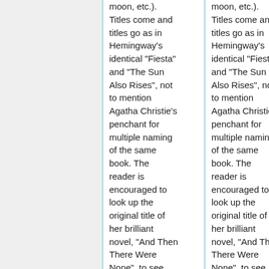moon, etc.). Titles come and titles go as in Hemingway's identical "Fiesta" and "The Sun Also Rises", not to mention Agatha Christie's penchant for multiple naming of the same book.  The reader is encouraged to look up the original title of her brilliant novel, "And Then There Were None", to see how unconsciously
moon, etc.). Titles come and titles go as in Hemingway's identical "Fiesta" and "The Sun Also Rises", not to mention Agatha Christie's penchant for multiple naming of the same book.  The reader is encouraged to look up the original title of her brilliant novel, "And Then There Were None", to see how unconsciously